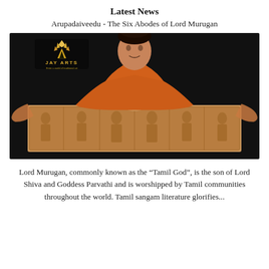Latest News
Arupadaiveedu - The Six Abodes of Lord Murugan
[Figure (photo): A woman in an orange top posing behind a large wooden carved panel depicting Lord Murugan's six abodes (Arupadaiveedu). The Jay Arts logo appears in the top-left corner of the image.]
Lord Murugan, commonly known as the “Tamil God”, is the son of Lord Shiva and Goddess Parvathi and is worshipped by Tamil communities throughout the world. Tamil sangam literature glorifies...